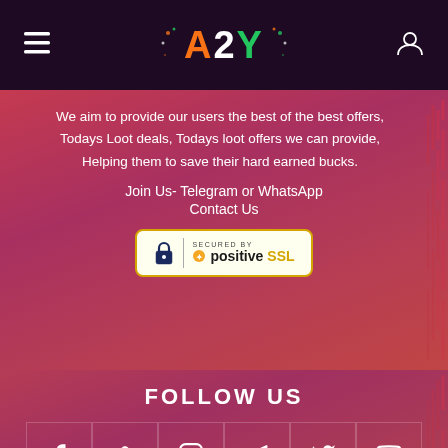A2Y — hamburger menu left, user icon right
We aim to provide our users the best of the best offers, Todays Loot deals, Todays loot offers we can provide, Helping them to save their hard earned bucks.
Join Us- Telegram or WhatsApp
Contact Us
[Figure (logo): Secured by Positive SSL badge — white/yellow rounded rectangle badge]
FOLLOW US
[Figure (infographic): Row of 6 social media icons: Facebook, Google+, Instagram, Telegram, Twitter, YouTube]
About Us   Privacy Policy   Contact us   Terms of Service